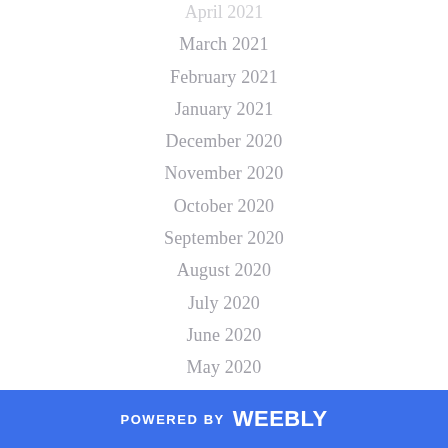April 2021
March 2021
February 2021
January 2021
December 2020
November 2020
October 2020
September 2020
August 2020
July 2020
June 2020
May 2020
April 2020
March 2020
February 2020
January 2020
December 2019
November 2019
October 2019
September 2019
POWERED BY weebly